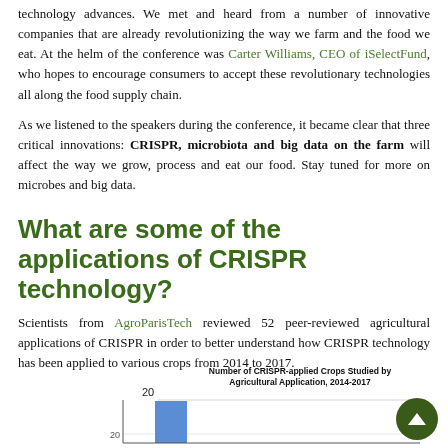technology advances. We met and heard from a number of innovative companies that are already revolutionizing the way we farm and the food we eat. At the helm of the conference was Carter Williams, CEO of iSelectFund, who hopes to encourage consumers to accept these revolutionary technologies all along the food supply chain.
As we listened to the speakers during the conference, it became clear that three critical innovations: CRISPR, microbiota and big data on the farm will affect the way we grow, process and eat our food. Stay tuned for more on microbes and big data.
What are some of the applications of CRISPR technology?
Scientists from AgroParisTech reviewed 52 peer-reviewed agricultural applications of CRISPR in order to better understand how CRISPR technology has been applied to various crops from 2014 to 2017.
[Figure (bar-chart): Bar chart showing number of CRISPR-applied crops studied by agricultural application from 2014 to 2017. Y-axis shows values up to 20.]